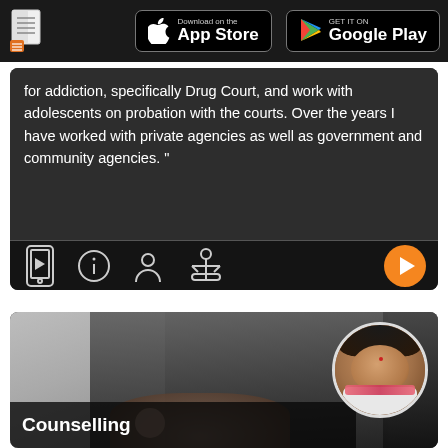[Figure (screenshot): App store download banner with document icon, App Store button and Google Play button on dark background]
for addiction, specifically Drug Court, and work with adolescents on probation with the courts. Over the years I have worked with private agencies as well as government and community agencies. "
[Figure (screenshot): Icon toolbar row with video/phone icon, info icon, person icon, settings/balance icon, and orange play button on right]
[Figure (photo): Counselling session photo showing blurred background with two people, circular avatar of an elderly Indian woman top right, and 'Counselling' text overlay at bottom left]
Counselling